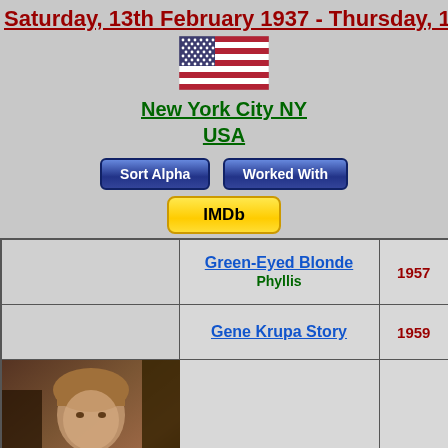Saturday, 13th February 1937 - Thursday, 10th May 1990
[Figure (illustration): US flag icon]
New York City NY
USA
Sort Alpha
Worked With
IMDb
| Image | Title / Role | Year |
| --- | --- | --- |
|  | Green-Eyed Blonde / Phyllis | 1957 |
|  | Gene Krupa Story | 1959 |
| [photo] | Butterfield 8 / Norma | 1960 |